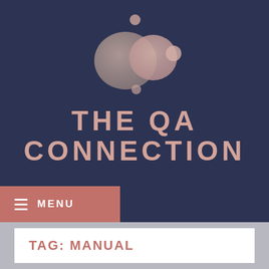[Figure (logo): Abstract blob/bubble logo shape in rose-gold gradient color on dark navy background]
THE QA CONNECTION
≡ MENU
TAG: MANUAL